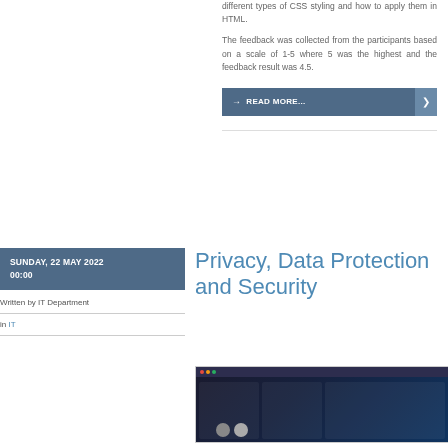different types of CSS styling and how to apply them in HTML.
The feedback was collected from the participants based on a scale of 1-5 where 5 was the highest and the feedback result was 4.5.
→ READ MORE...
SUNDAY, 22 MAY 2022 00:00
Written by IT Department
in IT
Privacy, Data Protection and Security
[Figure (screenshot): Screenshot of a webpage with dark background showing interface elements]